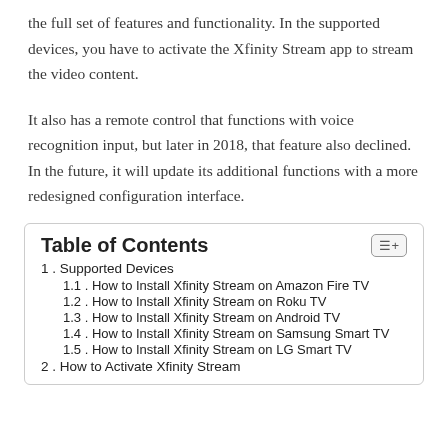the full set of features and functionality. In the supported devices, you have to activate the Xfinity Stream app to stream the video content.
It also has a remote control that functions with voice recognition input, but later in 2018, that feature also declined. In the future, it will update its additional functions with a more redesigned configuration interface.
Table of Contents
1. Supported Devices
1.1. How to Install Xfinity Stream on Amazon Fire TV
1.2. How to Install Xfinity Stream on Roku TV
1.3. How to Install Xfinity Stream on Android TV
1.4. How to Install Xfinity Stream on Samsung Smart TV
1.5. How to Install Xfinity Stream on LG Smart TV
2. How to Activate Xfinity Stream